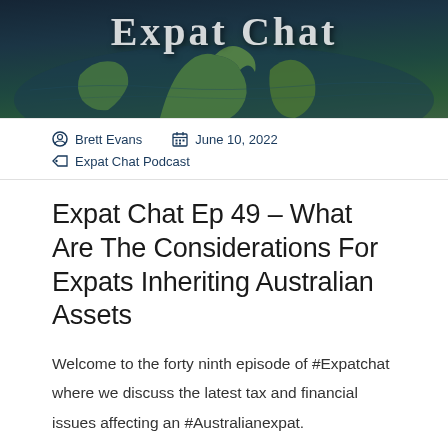[Figure (illustration): Expat Chat podcast banner with globe/earth imagery and large 'Expat Chat' title text on a dark teal/navy background]
Brett Evans   June 10, 2022
Expat Chat Podcast
Expat Chat Ep 49 – What Are The Considerations For Expats Inheriting Australian Assets
Welcome to the forty ninth episode of #Expatchat where we discuss the latest tax and financial issues affecting an #Australianexpat.